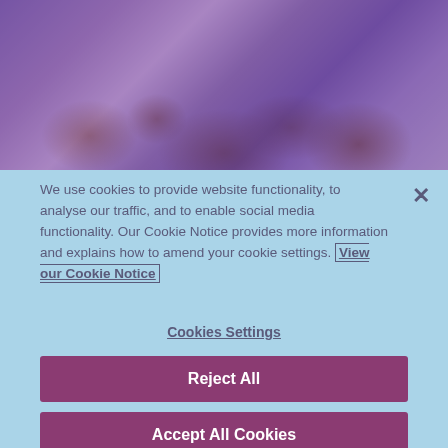[Figure (photo): Photo of multiple hands joined together in the center, with a purple/mauve color tint overlay]
We use cookies to provide website functionality, to analyse our traffic, and to enable social media functionality. Our Cookie Notice provides more information and explains how to amend your cookie settings. View our Cookie Notice
Cookies Settings
Reject All
Accept All Cookies